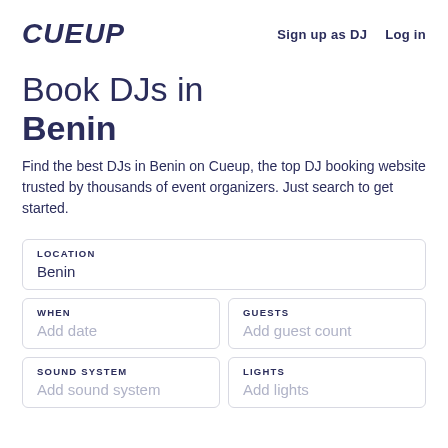CUEUP   Sign up as DJ   Log in
Book DJs in Benin
Find the best DJs in Benin on Cueup, the top DJ booking website trusted by thousands of event organizers. Just search to get started.
LOCATION
Benin
WHEN
Add date
GUESTS
Add guest count
SOUND SYSTEM
Add sound system
LIGHTS
Add lights